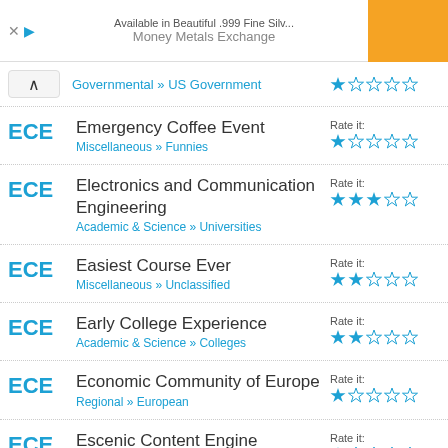[Figure (screenshot): Advertisement banner for Money Metals Exchange with orange button]
Governmental » US Government — 1 star rating
ECE — Emergency Coffee Event — Miscellaneous » Funnies — Rate it: 1 star
ECE — Electronics and Communication Engineering — Academic & Science » Universities — Rate it: 3 stars
ECE — Easiest Course Ever — Miscellaneous » Unclassified — Rate it: 2 stars
ECE — Early College Experience — Academic & Science » Colleges — Rate it: 2 stars
ECE — Economic Community of Europe — Regional » European — Rate it: 1 star
ECE — Escenic Content Engine — Miscellaneous » Unclassified — Rate it: 1 star